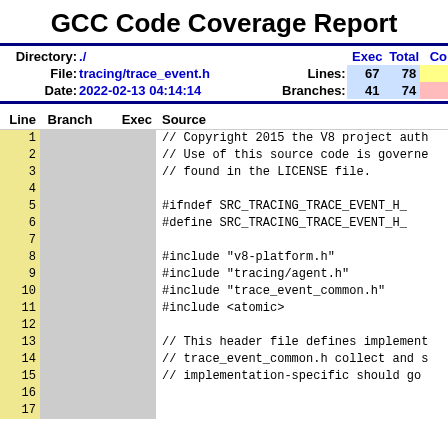GCC Code Coverage Report
| Directory: | ./ |  | Exec | Total | Cov |
| --- | --- | --- | --- | --- | --- |
| File: | tracing/trace_event.h | Lines: | 67 | 78 |  |
| Date: | 2022-02-13 04:14:14 | Branches: | 41 | 74 |  |
| Line | Branch | Exec | Source |
| --- | --- | --- | --- |
| 1 |  |  | // Copyright 2015 the V8 project auth |
| 2 |  |  | // Use of this source code is governe |
| 3 |  |  | // found in the LICENSE file. |
| 4 |  |  |  |
| 5 |  |  | #ifndef SRC_TRACING_TRACE_EVENT_H_ |
| 6 |  |  | #define SRC_TRACING_TRACE_EVENT_H_ |
| 7 |  |  |  |
| 8 |  |  | #include "v8-platform.h" |
| 9 |  |  | #include "tracing/agent.h" |
| 10 |  |  | #include "trace_event_common.h" |
| 11 |  |  | #include <atomic> |
| 12 |  |  |  |
| 13 |  |  | // This header file defines implement |
| 14 |  |  | // trace_event_common.h collect and s |
| 15 |  |  | // implementation-specific should go |
| 16 |  |  |  |
| 17 |  |  |  |